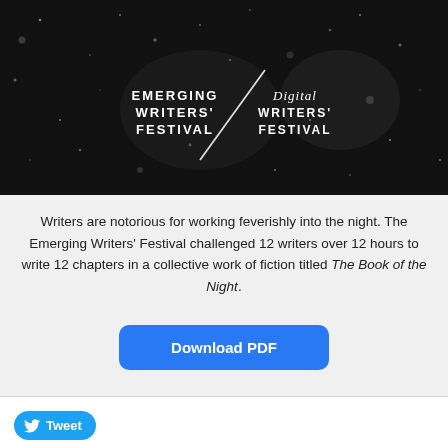[Figure (illustration): Dark night sky banner with bokeh/stars effect. White text on left reads 'EMERGING WRITERS' FESTIVAL' in bold caps. A diagonal slash line separates it from right side reading 'Digital WRITERS' FESTIVAL' in italic/bold mixed style. Both text blocks are white on dark background.]
Writers are notorious for working feverishly into the night. The Emerging Writers' Festival challenged 12 writers over 12 hours to write 12 chapters in a collective work of fiction titled The Book of the Night.
Download PDF
Tweet
Showbag